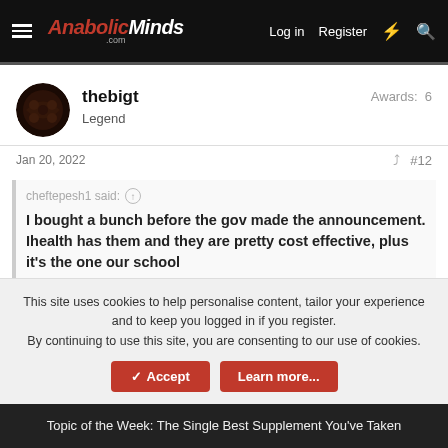AnabolicMinds.com — Log in  Register
thebigt — Legend  Awards: 6
Jan 20, 2022  #12
cheftepesh1 said:
I bought a bunch before the gov made the announcement. Ihealth has them and they are pretty cost effective, plus it's the one our school
This site uses cookies to help personalise content, tailor your experience and to keep you logged in if you register.
By continuing to use this site, you are consenting to our use of cookies.
Topic of the Week: The Single Best Supplement You've Taken